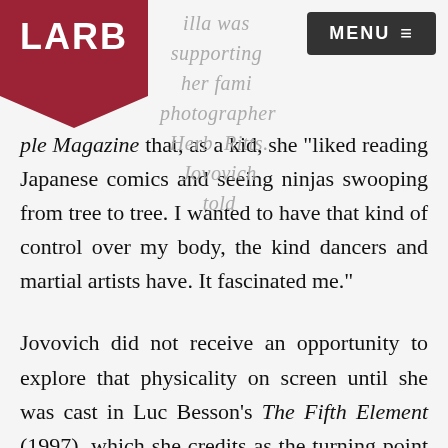LARB | illa was supporting her fami... photographer Herb Ritts. Jovovich told
ple Magazine that, as a kid, she “liked reading Japanese comics and seeing ninjas swooping from tree to tree. I wanted to have that kind of control over my body, the kind dancers and martial artists have. It fascinated me.”
Jovovich did not receive an opportunity to explore that physicality on screen until she was cast in Luc Besson’s The Fifth Element (1997), which she credits as the turning point in her film career. She had appeared in films before, but only as eye candy, like her shipwrecked teen in Return to the Blue Lagoon (1991) or her hippie chick in Dazed and Confused (1993). The Fifth Element’s Leeloo was something else: a divine alien naïve with martial arts